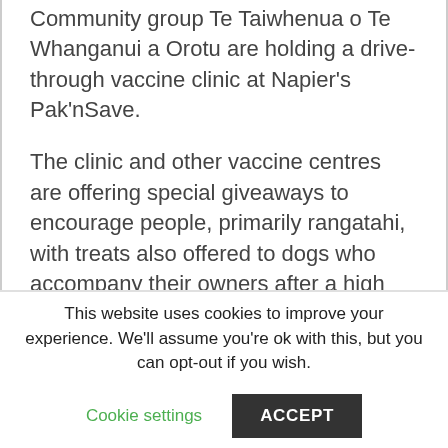Community group Te Taiwhenua o Te Whanganui a Orotu are holding a drive-through vaccine clinic at Napier's Pak'nSave.
The clinic and other vaccine centres are offering special giveaways to encourage people, primarily rangatahi, with treats also offered to dogs who accompany their owners after a high turnout from four-legged friends at previous drive-through clinics.
Hastings District Council is also running a drive-through vaccination clinic with Choices –
This website uses cookies to improve your experience. We'll assume you're ok with this, but you can opt-out if you wish.
Cookie settings
ACCEPT